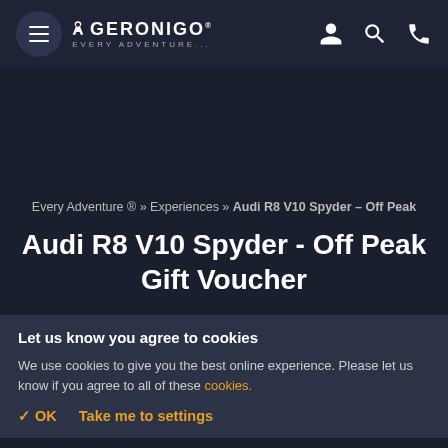[Figure (logo): Geronigo logo with hamburger menu, navigation icons for user, search, and phone on dark header bar]
Every Adventure ® » Experiences » Audi R8 V10 Spyder – Off Peak
Audi R8 V10 Spyder - Off Peak Gift Voucher
Let us know you agree to cookies
We use cookies to give you the best online experience. Please let us know if you agree to all of these cookies.
✓ OK    Take me to settings